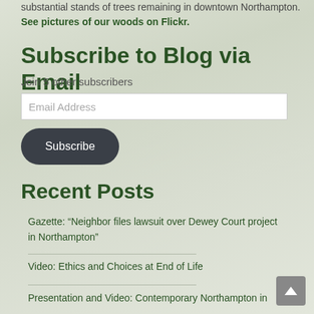substantial stands of trees remaining in downtown Northampton. See pictures of our woods on Flickr.
Subscribe to Blog via Email
Join 5 other subscribers
Email Address
Subscribe
Recent Posts
Gazette: “Neighbor files lawsuit over Dewey Court project in Northampton”
Video: Ethics and Choices at End of Life
Presentation and Video: Contemporary Northampton in